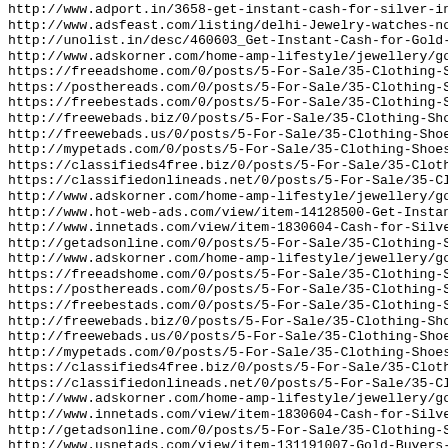http://www.adport.in/3658-get-instant-cash-for-silver-in-no
http://www.adsfeast.com/listing/delhi-Jewelry-watches-now-g
http://unolist.in/desc/460603_Get-Instant-Cash-for-Gold-in-
http://www.adskorner.com/home-amp-lifestyle/jewellery/gold-
https://freeadshome.com/0/posts/5-For-Sale/35-Clothing-Shoe
https://posthereads.com/0/posts/5-For-Sale/35-Clothing-Shoe
https://freebestads.com/0/posts/5-For-Sale/35-Clothing-Shoe
http://freewebads.biz/0/posts/5-For-Sale/35-Clothing-Shoes-
http://freewebads.us/0/posts/5-For-Sale/35-Clothing-Shoes-A
http://mypetads.com/0/posts/5-For-Sale/35-Clothing-Shoes-Ac
https://classifieds4free.biz/0/posts/5-For-Sale/35-Clothing
https://classifiedonlineads.net/0/posts/5-For-Sale/35-Cloth
http://www.adskorner.com/home-amp-lifestyle/jewellery/gold-
http://www.hot-web-ads.com/view/item-14128500-Get-Instant-C
http://www.innetads.com/view/item-1830604-Cash-for-Silver-i
http://getadsonline.com/0/posts/5-For-Sale/35-Clothing-Shoe
http://www.adskorner.com/home-amp-lifestyle/jewellery/gold-
https://freeadshome.com/0/posts/5-For-Sale/35-Clothing-Shoe
https://posthereads.com/0/posts/5-For-Sale/35-Clothing-Shoe
https://freebestads.com/0/posts/5-For-Sale/35-Clothing-Shoe
http://freewebads.biz/0/posts/5-For-Sale/35-Clothing-Shoes-
http://freewebads.us/0/posts/5-For-Sale/35-Clothing-Shoes-A
http://mypetads.com/0/posts/5-For-Sale/35-Clothing-Shoes-Ac
https://classifieds4free.biz/0/posts/5-For-Sale/35-Clothing
https://classifiedonlineads.net/0/posts/5-For-Sale/35-Cloth
http://www.adskorner.com/home-amp-lifestyle/jewellery/gold-
http://www.innetads.com/view/item-1830604-Cash-for-Silver-i
http://getadsonline.com/0/posts/5-For-Sale/35-Clothing-Shoe
http://www.usnetads.com/view/item-131191007-Gold-Buyers-and
https://www.koolbusiness.com/newvi/5936504447696896.html